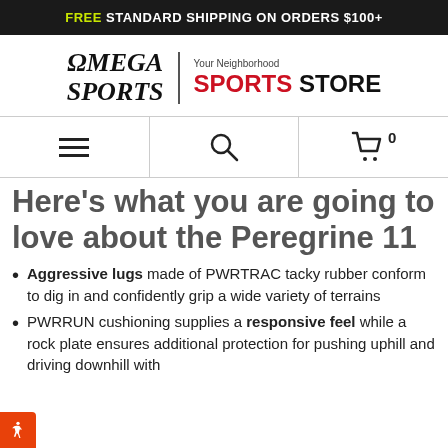FREE STANDARD SHIPPING ON ORDERS $100+
[Figure (logo): Omega Sports logo — OMEGA SPORTS text with omega symbol, divider, 'Your Neighborhood SPORTS STORE' tagline]
[Figure (infographic): Navigation bar with hamburger menu, search icon, and cart icon showing 0 items]
Here's what you are going to love about the Peregrine 11
Aggressive lugs made of PWRTRAC tacky rubber conform to dig in and confidently grip a wide variety of terrains
PWRRUN cushioning supplies a responsive feel while a rock plate ensures additional protection for pushing uphill and driving downhill with